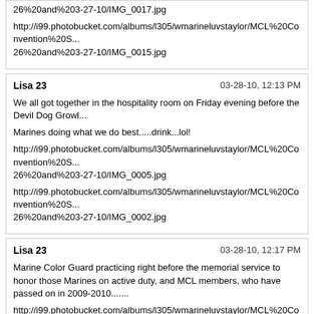26%20and%203-27-10/IMG_0017.jpg
http://i99.photobucket.com/albums/l305/wmarineluvstaylor/MCL%20Convention%20S...
26%20and%203-27-10/IMG_0015.jpg
Lisa 23    03-28-10, 12:13 PM
We all got together in the hospitality room on Friday evening before the Devil Dog Growl...
Marines doing what we do best.....drink...lol!
http://i99.photobucket.com/albums/l305/wmarineluvstaylor/MCL%20Convention%20S...
26%20and%203-27-10/IMG_0005.jpg
http://i99.photobucket.com/albums/l305/wmarineluvstaylor/MCL%20Convention%20S...
26%20and%203-27-10/IMG_0002.jpg
Lisa 23    03-28-10, 12:17 PM
Marine Color Guard practicing right before the memorial service to honor those Marines on active duty, and MCL members, who have passed on in 2009-2010.......
http://i99.photobucket.com/albums/l305/wmarineluvstaylor/MCL%20Convention%20S...
26%20and%203-27-10/IMG_0021.jpg
http://i99.photobucket.com/albums/l305/wmarineluvstaylor/MCL%20Convention%20S...
26%20and%203-27-10/IMG_0023.jpg
Rocky C    03-28-10, 12:23 PM
This pic of my brother and I with Gen Gray is a pic that I will treasure for the rest of my life!